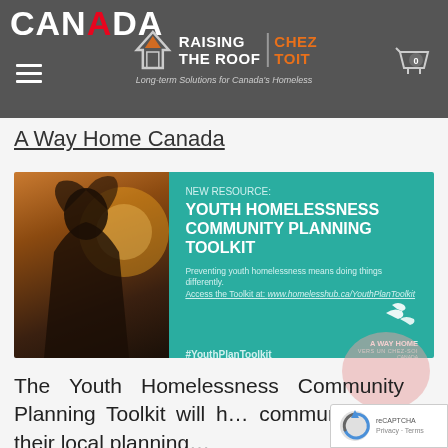CANADA — Raising The Roof | Chez Toit — Long-term Solutions for Canada's Homeless
A Way Home Canada
[Figure (infographic): Banner image advertising 'NEW RESOURCE: YOUTH HOMELESSNESS COMMUNITY PLANNING TOOLKIT'. Left half: photo of young person silhouetted against sunset. Right half: teal/green background with white text reading 'NEW RESOURCE: YOUTH HOMELESSNESS COMMUNITY PLANNING TOOLKIT'. Below: 'Preventing youth homelessness means doing things differently. Access the Toolkit at: www.homelesshub.ca/YouthPlanToolkit'. Bottom left: #YouthPlanToolkit. Bottom right: A Way Home / Vers un chez-soi logo.]
The Youth Homelessness Community Planning Toolkit will h… communities in their local planning…